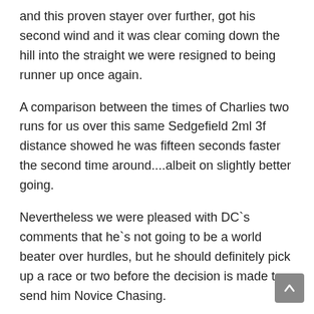and this proven stayer over further, got his second wind and it was clear coming down the hill into the straight we were resigned to being runner up once again.
A comparison between the times of Charlies two runs for us over this same Sedgefield 2ml 3f distance showed he was fifteen seconds faster the second time around....albeit on slightly better going.
Nevertheless we were pleased with DC`s comments that he`s not going to be a world beater over hurdles, but he should definitely pick up a race or two before the decision is made to send him Novice Chasing.
So, expect to see our Charlie out again soon, then maybe one more race before, hopefully, Sue will decide sometime in April to step him